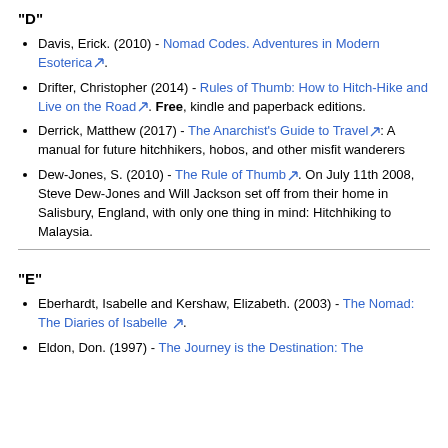"D"
Davis, Erick. (2010) - Nomad Codes. Adventures in Modern Esoterica.
Drifter, Christopher (2014) - Rules of Thumb: How to Hitch-Hike and Live on the Road. Free, kindle and paperback editions.
Derrick, Matthew (2017) - The Anarchist's Guide to Travel: A manual for future hitchhikers, hobos, and other misfit wanderers
Dew-Jones, S. (2010) - The Rule of Thumb. On July 11th 2008, Steve Dew-Jones and Will Jackson set off from their home in Salisbury, England, with only one thing in mind: Hitchhiking to Malaysia.
"E"
Eberhardt, Isabelle and Kershaw, Elizabeth. (2003) - The Nomad: The Diaries of Isabelle.
Eldon, Don. (1997) - The Journey is the Destination: The